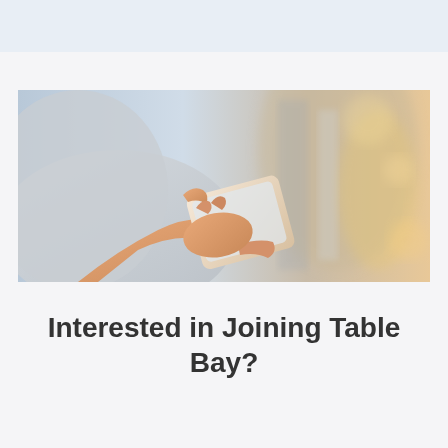[Figure (photo): Person holding a smartphone, tapping the screen with their finger. Background is blurred with warm tones. Person is wearing a light grey hoodie.]
Interested in Joining Table Bay?